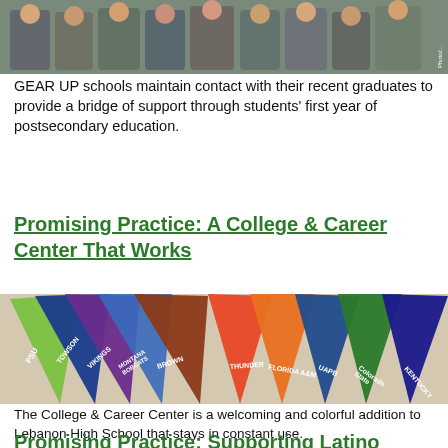[Figure (photo): Group photo of students in a school setting, GEAR UP program photo]
GEAR UP schools maintain contact with their recent graduates to provide a bridge of support through students' first year of postsecondary education.
Promising Practice: A College & Career Center That Works
[Figure (photo): Photo of colorful college pennants fanned out on a table, including Brown, Towson, Montana Bobcats, UAPB, Florida A&M, Colorado State, Kentucky, and others]
The College & Career Center is a welcoming and colorful addition to Lebanon High School that stays in constant use.
Promising Practice: Supporting Latino